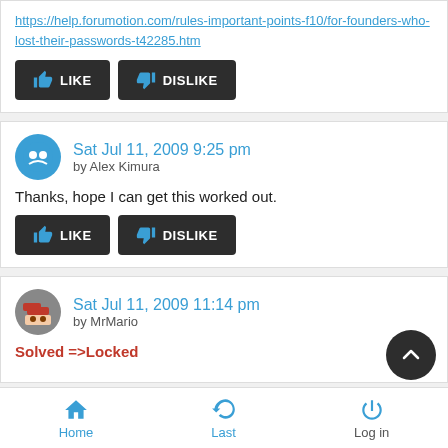https://help.forumotion.com/rules-important-points-f10/for-founders-who-lost-their-passwords-t42285.htm
[Figure (other): Like and Dislike buttons (dark background with thumbs up/down icons)]
Sat Jul 11, 2009 9:25 pm
by Alex Kimura
Thanks, hope I can get this worked out.
[Figure (other): Like and Dislike buttons (dark background with thumbs up/down icons)]
Sat Jul 11, 2009 11:14 pm
by MrMario
Solved =>Locked
Home  Last  Log in